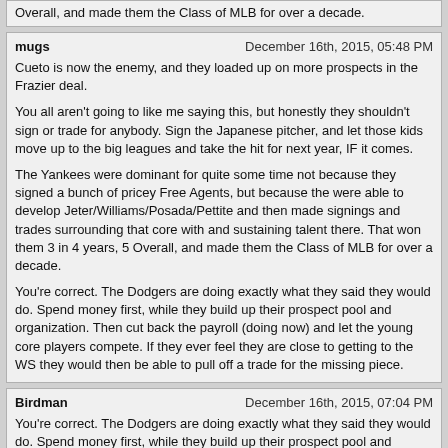Overall, and made them the Class of MLB for over a decade.
mugs
December 16th, 2015, 05:48 PM
Cueto is now the enemy, and they loaded up on more prospects in the Frazier deal.

You all aren't going to like me saying this, but honestly they shouldn't sign or trade for anybody. Sign the Japanese pitcher, and let those kids move up to the big leagues and take the hit for next year, IF it comes.

The Yankees were dominant for quite some time not because they signed a bunch of pricey Free Agents, but because the were able to develop Jeter/Williams/Posada/Pettite and then made signings and trades surrounding that core with and sustaining talent there. That won them 3 in 4 years, 5 Overall, and made them the Class of MLB for over a decade.

You're correct. The Dodgers are doing exactly what they said they would do. Spend money first, while they build up their prospect pool and organization. Then cut back the payroll (doing now) and let the young core players compete. If they ever feel they are close to getting to the WS they would then be able to pull off a trade for the missing piece.
Birdman
December 16th, 2015, 07:04 PM
You're correct. The Dodgers are doing exactly what they said they would do. Spend money first, while they build up their prospect pool and organization. Then cut back the payroll (doing now) and let the young core players compete. If they ever feel they are close to getting to the WS they would then be able to pull off a trade for the missing piece.

That might be 2 or 3 trades and a couple of signings, it could be 5 to 7 more players.